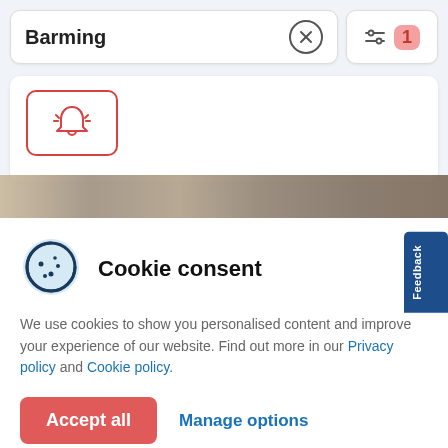Barming
[Figure (screenshot): Search interface with Barming text, close button, and filter button showing badge 1]
[Figure (screenshot): Alert notification icon in a red-bordered rounded rectangle box]
[Figure (photo): Partial image strip showing a brownish/earthy scene]
Cookie consent
We use cookies to show you personalised content and improve your experience of our website. Find out more in our Privacy policy and Cookie policy.
Accept all
Manage options
Feedback